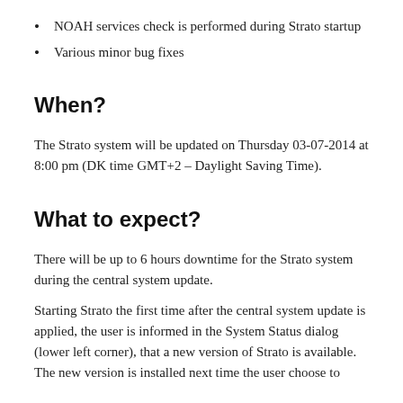NOAH services check is performed during Strato startup
Various minor bug fixes
When?
The Strato system will be updated on Thursday 03-07-2014 at 8:00 pm (DK time GMT+2 – Daylight Saving Time).
What to expect?
There will be up to 6 hours downtime for the Strato system during the central system update.
Starting Strato the first time after the central system update is applied, the user is informed in the System Status dialog (lower left corner), that a new version of Strato is available. The new version is installed next time the user choose to